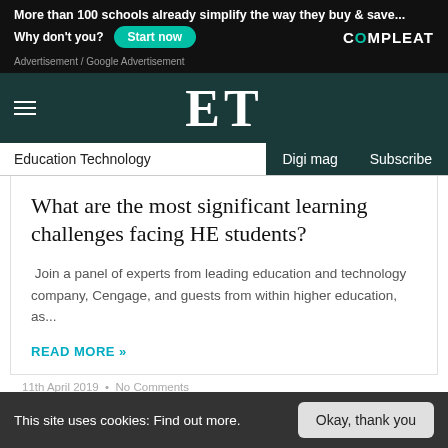[Figure (screenshot): Advertisement banner for Compleat: 'More than 100 schools already simplify the way they buy & save... Why don't you? Start now' with Compleat logo on black background]
Advertisement / Google Advertisement
ET — Education Technology | Digi mag | Subscribe
What are the most significant learning challenges facing HE students?
Join a panel of experts from leading education and technology company, Cengage, and guests from within higher education, as...
READ MORE »
11th April 2019 • No Comments
This site uses cookies: Find out more. Okay, thank you